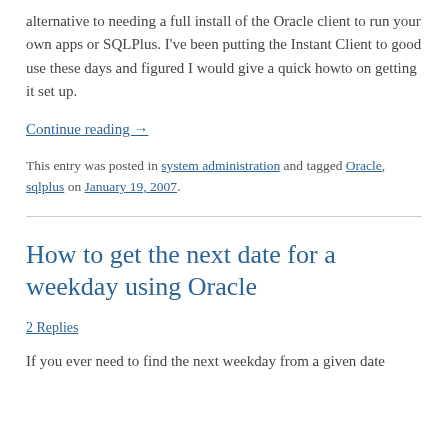alternative to needing a full install of the Oracle client to run your own apps or SQLPlus. I've been putting the Instant Client to good use these days and figured I would give a quick howto on getting it set up.
Continue reading →
This entry was posted in system administration and tagged Oracle, sqlplus on January 19, 2007.
How to get the next date for a weekday using Oracle
2 Replies
If you ever need to find the next weekday from a given date